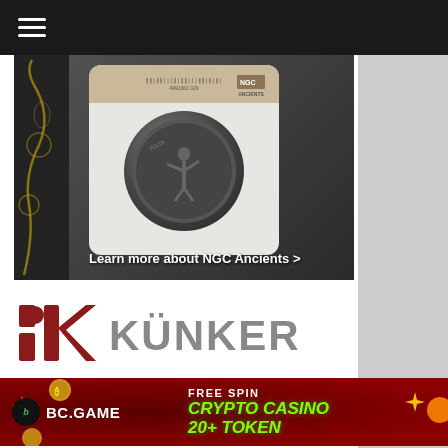[Figure (screenshot): Dark navigation bar with hamburger menu icon (three horizontal lines) on white/dark background]
[Figure (photo): NGC Ancients advertisement showing a slabbed ancient Roman coin in a plastic holder with barcode label. Background is dark gray with gold vine decorations on the left. Text at bottom reads 'Learn more about NGC Ancients >']
Learn more about NGC Ancients >
[Figure (logo): KÜNKER logo - red stylized IK letterform with gray sans-serif KÜNKER wordmark]
[Figure (infographic): BC.GAME crypto casino advertisement banner. Red/dark red background with coins. Left side shows BC.GAME logo and name. Right side shows 'FREE SPIN' in white and 'CRYPTO CASINO 20+ TOKEN' in green/yellow. Decorative gold sparkles and coin graphics around edges.]